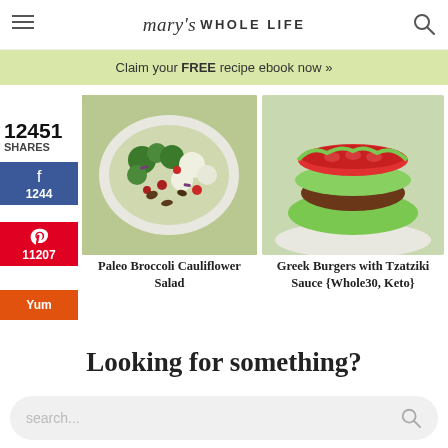mary's WHOLE LIFE
Claim your FREE recipe ebook now »
12451
SHARES
f
1244
11207
Yum
[Figure (photo): Bowl of Paleo Broccoli Cauliflower Salad with cranberries and nuts]
Paleo Broccoli Cauliflower Salad
[Figure (photo): Greek Burger with Tzatziki Sauce in lettuce wrap with tomato on plate]
Greek Burgers with Tzatziki Sauce {Whole30, Keto}
Looking for something?
search...